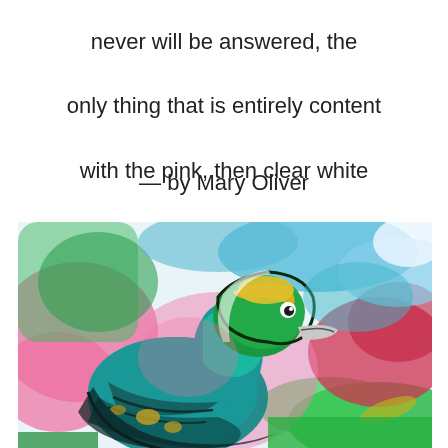never will be answered, the only thing that is entirely content with the pink, then clear white morning, and gratefully, says so.
— by Mary Oliver
[Figure (illustration): Colorful expressionist painting of a duck/bird with green head, yellow markings, teal body, set against a vibrant background of pink, red, blue, and green brushstrokes]